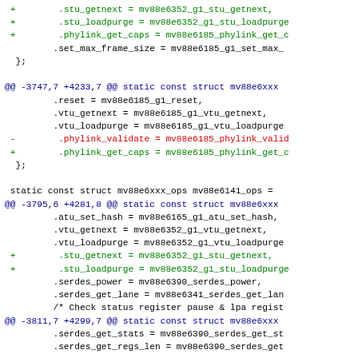[Figure (screenshot): Diff/patch code snippet showing changes to Linux kernel driver code for Marvell mv88e6xxx switch chips. Lines show additions (+) in green, removals (-) in red, context lines in black, and hunk headers in blue/cyan.]